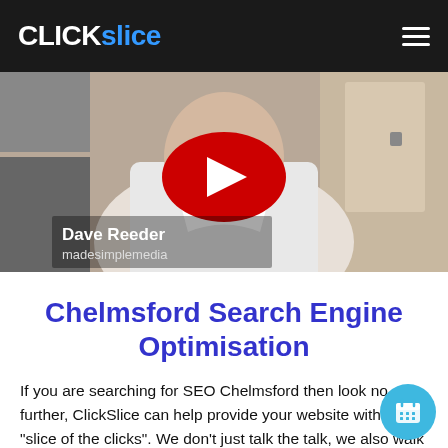CLICKslice
[Figure (screenshot): YouTube video thumbnail showing a man in a white shirt with a red YouTube play button overlay. Text overlay reads 'Dave Reeder madesimplemedia']
Chelmsford Search Engine Optimisation
If you are searching for SEO Chelmsford then look no further, ClickSlice can help provide your website with a "slice of the clicks". We don't just talk the talk, we also walk the walk: